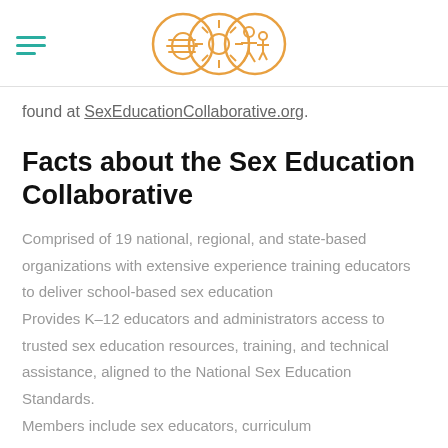found at SexEducationCollaborative.org.
Facts about the Sex Education Collaborative
Comprised of 19 national, regional, and state-based organizations with extensive experience training educators to deliver school-based sex education
Provides K–12 educators and administrators access to trusted sex education resources, training, and technical assistance, aligned to the National Sex Education Standards.
Members include sex educators, curriculum